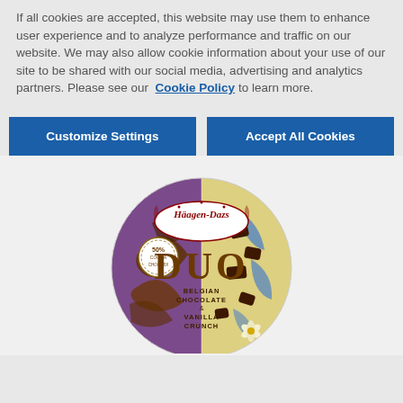If all cookies are accepted, this website may use them to enhance user experience and to analyze performance and traffic on our website. We may also allow cookie information about your use of our site to be shared with our social media, advertising and analytics partners. Please see our Cookie Policy to learn more.
Customize Settings
Accept All Cookies
[Figure (photo): Häagen-Dazs DUO Belgian Chocolate & Vanilla Crunch ice cream tub product photo, circular container showing two flavors side by side with 50% cocoa badge]